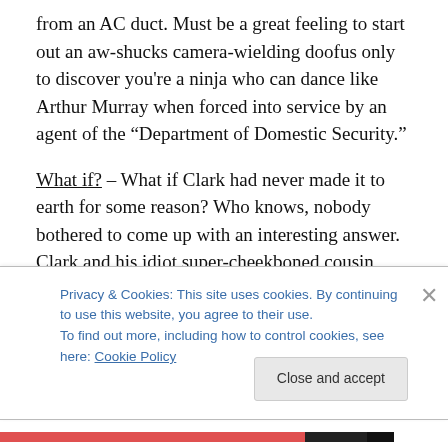from an AC duct. Must be a great feeling to start out an aw-shucks camera-wielding doofus only to discover you're a ninja who can dance like Arthur Murray when forced into service by an agent of the “Department of Domestic Security.”
What if? – What if Clark had never made it to earth for some reason? Who knows, nobody bothered to come up with an interesting answer. Clark and his idiot super-cheekboned cousin can’t dodge a bullet across the room just because it’s made with kryptonite. This after countless
Privacy & Cookies: This site uses cookies. By continuing to use this website, you agree to their use.
To find out more, including how to control cookies, see here: Cookie Policy